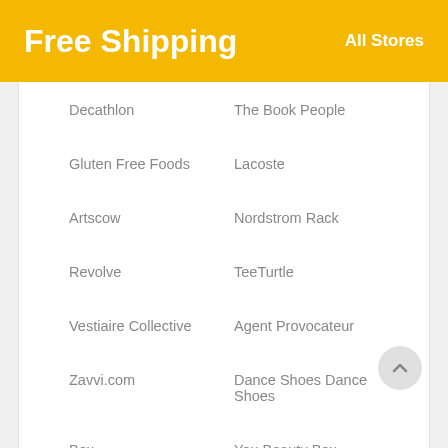Free Shipping
All Stores
Decathlon
The Book People
Gluten Free Foods
Lacoste
Artscow
Nordstrom Rack
Revolve
TeeTurtle
Vestiaire Collective
Agent Provocateur
Zavvi.com
Dance Shoes Dance Shoes
Box
You Beauty Box